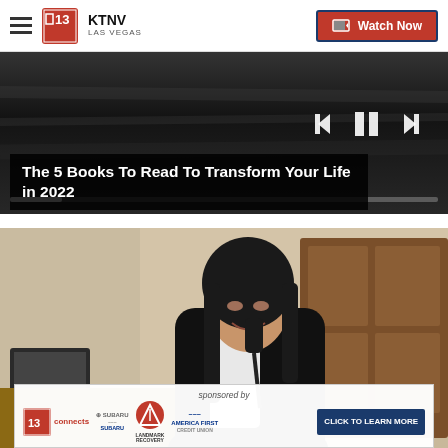KTNV LAS VEGAS | Watch Now
[Figure (screenshot): Video player showing a dark/blurry background with media controls (skip back, pause, skip forward) and a progress bar at the bottom]
The 5 Books To Read To Transform Your Life in 2022
[Figure (photo): A young woman in a black blazer smiling while talking on a telephone at what appears to be a hotel front desk or reception area, with wooden cabinets in the background]
sponsored by
[Figure (logo): Sponsor bar containing: 13 Connects logo, Subaru logo, Landmark Recovery logo, America First Credit Union logo, and a 'CLICK TO LEARN MORE' button]